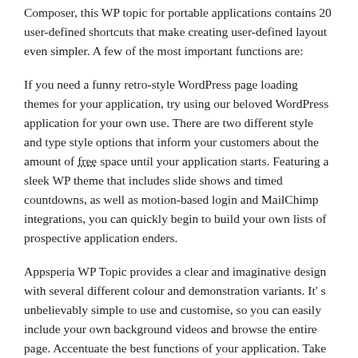Composer, this WP topic for portable applications contains 20 user-defined shortcuts that make creating user-defined layout even simpler. A few of the most important functions are:
If you need a funny retro-style WordPress page loading themes for your application, try using our beloved WordPress application for your own use. There are two different style and type style options that inform your customers about the amount of free space until your application starts. Featuring a sleek WP theme that includes slide shows and timed countdowns, as well as motion-based login and MailChimp integrations, you can quickly begin to build your own lists of prospective application enders.
Appsperia WP Topic provides a clear and imaginative design with several different colour and demonstration variants. It’ s unbelievably simple to use and customise, so you can easily include your own background videos and browse the entire page. Accentuate the best functions of your application. Take a look at what some of our people have to say about this great WP topic: